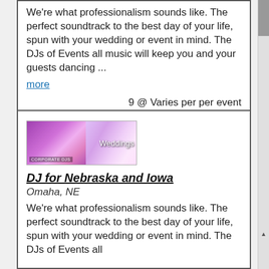We're what professionalism sounds like. The perfect soundtrack to the best day of your life, spun with your wedding or event in mind. The DJs of Events all music will keep you and your guests dancing ...
more
9 @ Varies per per event
[Figure (photo): Composite image showing Corporate DJs on the left and Weddings on the right, overlaid with text labels]
DJ for Nebraska and Iowa
Omaha, NE
We're what professionalism sounds like. The perfect soundtrack to the best day of your life, spun with your wedding or event in mind. The DJs of Events all